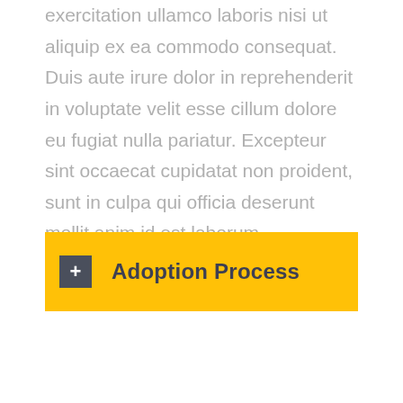exercitation ullamco laboris nisi ut aliquip ex ea commodo consequat. Duis aute irure dolor in reprehenderit in voluptate velit esse cillum dolore eu fugiat nulla pariatur. Excepteur sint occaecat cupidatat non proident, sunt in culpa qui officia deserunt mollit anim id est laborum.
+ Adoption Process